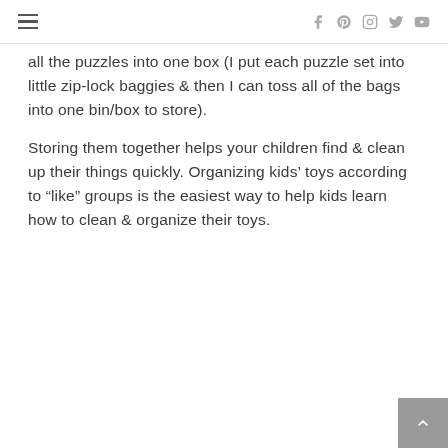Navigation menu and social icons (Facebook, Pinterest, Instagram, Twitter, YouTube)
all the puzzles into one box (I put each puzzle set into little zip-lock baggies & then I can toss all of the bags into one bin/box to store).
Storing them together helps your children find & clean up their things quickly. Organizing kids’ toys according to “like” groups is the easiest way to help kids learn how to clean & organize their toys.